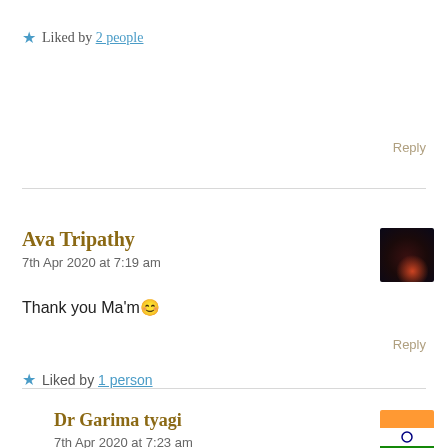★ Liked by 2 people
Reply
Ava Tripathy
7th Apr 2020 at 7:19 am
Thank you Ma'm 😊
★ Liked by 1 person
Reply
Dr Garima tyagi
7th Apr 2020 at 7:23 am